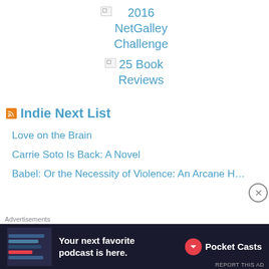[Figure (illustration): Broken image placeholder for 2016 NetGalley Challenge badge]
2016 NetGalley Challenge
[Figure (illustration): Broken image placeholder for 25 Book Reviews badge]
25 Book Reviews
Indie Next List
Love on the Brain
Carrie Soto Is Back: A Novel
Babel: Or the Necessity of Violence: An Arcane History of
Advertisements
[Figure (screenshot): Pocket Casts advertisement: Your next favorite podcast is here.]